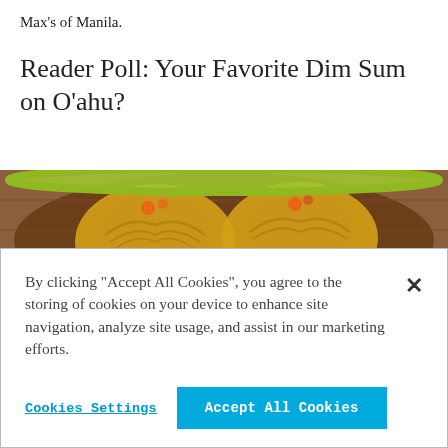Max's of Manila.
Reader Poll: Your Favorite Dim Sum on O’ahu?
[Figure (photo): Close-up photo of dim sum dumplings (siu mai) in a wooden bamboo steamer basket, with yellow wrappers and orange garnish on top.]
By clicking “Accept All Cookies”, you agree to the storing of cookies on your device to enhance site navigation, analyze site usage, and assist in our marketing efforts.
Cookies Settings
Accept All Cookies